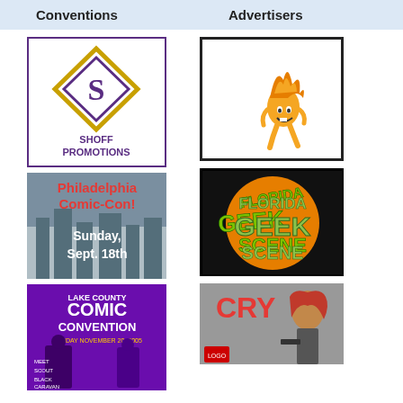Conventions    Advertisers
[Figure (logo): Shoff Promotions logo - diamond shape with S inside, purple border box with text SHOFF PROMOTIONS]
[Figure (illustration): Philadelphia Comic-Con! Sunday, Sept. 18th banner with city skyline background]
[Figure (illustration): Lake County Comic Convention - Sunday November 20, 2005, Meet Scout, Black Caravan]
[Figure (illustration): White box with cartoon flame character running - advertiser logo]
[Figure (logo): Florida Geek Scene logo - green text on orange circle with black background]
[Figure (illustration): CRY - woman with red hair, partial image]